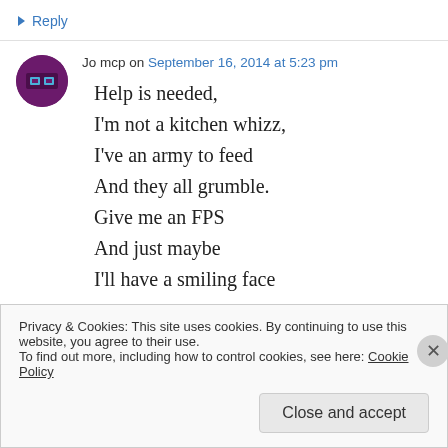↳ Reply
Jo mcp on September 16, 2014 at 5:23 pm
Help is needed,
I'm not a kitchen whizz,
I've an army to feed
And they all grumble.
Give me an FPS
And just maybe
I'll have a smiling face
Privacy & Cookies: This site uses cookies. By continuing to use this website, you agree to their use.
To find out more, including how to control cookies, see here: Cookie Policy